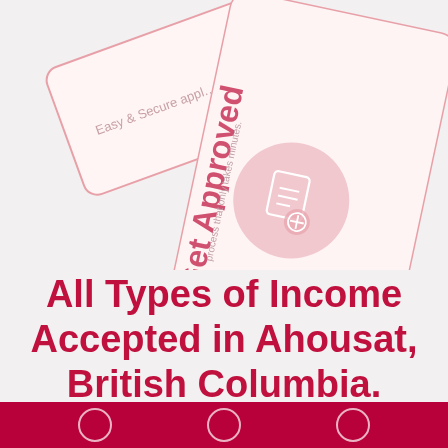[Figure (illustration): Two overlapping decorative cards rotated at angles. The top-left card has a pink border with text 'Easy & Secure appl...' The larger card on the right is rotated and shows 'Get Approved' vertically in pink, with text 'process that only takes minutes.' A pink circle with a document/stamp icon sits in the middle of the larger card.]
All Types of Income Accepted in Ahousat, British Columbia.
[Figure (illustration): Dark red/crimson bottom bar with three circular icon badges visible at the bottom of the page.]